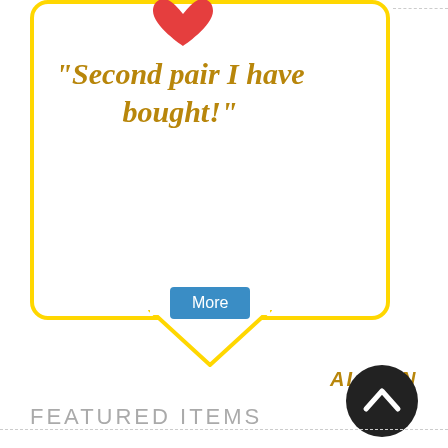[Figure (illustration): Yellow rounded speech bubble with red heart icon at top, containing a customer quote in bold italic golden serif text. A 'More' button in blue is below the quote. The bubble has a triangular tail pointing downward.]
"Second pair I have bought!"
ALISON
[Figure (illustration): Black circular up-arrow navigation button]
FEATURED ITEMS